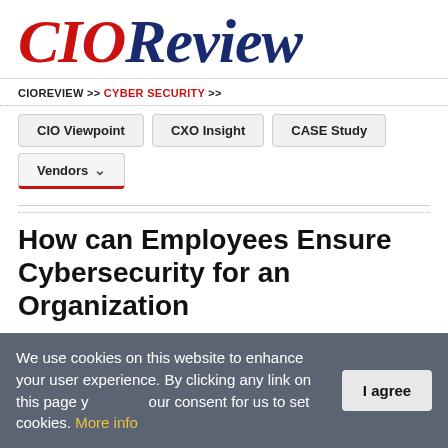[Figure (logo): CIOReview logo in italic serif font, 'CIO' in red and 'Review' in dark navy blue]
CIOREVIEW >> CYBER SECURITY >>
CIO Viewpoint | CXO Insight | CASE Study | Vendors
How can Employees Ensure Cybersecurity for an Organization
We use cookies on this website to enhance your user experience. By clicking any link on this page you give your consent for us to set cookies. More info